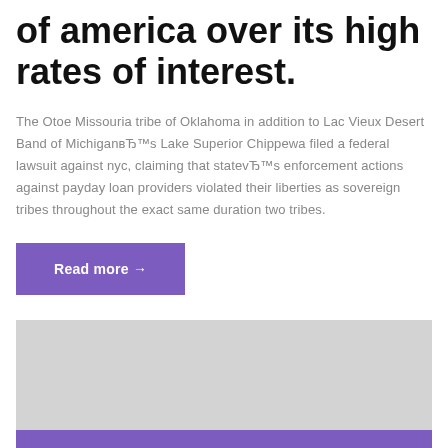of america over its high rates of interest.
The Otoe Missouria tribe of Oklahoma in addition to Lac Vieux Desert Band of MichiganвЂ™s Lake Superior Chippewa filed a federal lawsuit against nyc, claiming that statevЂ™s enforcement actions against payday loan providers violated their liberties as sovereign tribes throughout the exact same duration two tribes.
Read more →
[Figure (other): Gray placeholder image block with purple strip at bottom]